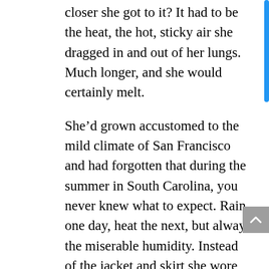closer she got to it? It had to be the heat, the hot, sticky air she dragged in and out of her lungs. Much longer, and she would certainly melt.
She’d grown accustomed to the mild climate of San Francisco and had forgotten that during the summer in South Carolina, you never knew what to expect. Rain one day, heat the next, but always the miserable humidity. Instead of the jacket and skirt she wore, she longed for a thin sundress and sandals. Not to mention a tall, cold drink. The kind with an umbrella and some fruit on the side. Something with enough liquor in it to make her forget why she was here.
Her stomach knotted in grief at the memory of the polite phone call she’d received a few days ago. She’d woken to the shrill ring of her cell phone at an ungodly hour of the morning and had been ready to